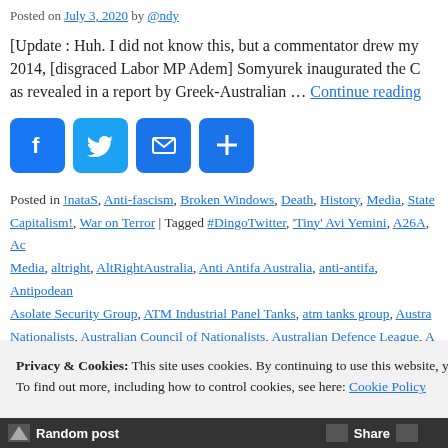Posted on July 3, 2020 by @ndy
[Update : Huh. I did not know this, but a commentator drew my 2014, [disgraced Labor MP Adem] Somyurek inaugurated the C as revealed in a report by Greek-Australian … Continue reading
[Figure (other): Social share buttons: Facebook, Twitter, Email, Plus]
Posted in !nataS, Anti-fascism, Broken Windows, Death, History, Media, State Capitalism!, War on Terror | Tagged #DingoTwitter, 'Tiny' Avi Yemini, A26A, Ac Media, altright, AltRightAustralia, Anti Antifa Australia, anti-antifa, Antipodean Asolate Security Group, ATM Industrial Panel Tanks, atm tanks group, Austra Nationalists, Australian Council of Nationalists, Australian Defence League, A Liberty Alliance, Australian Meditations, Australian Natives Association, Austra Australian Patriots Uprising, Australian Protectionist Party, Australian Settlers
Privacy & Cookies: This site uses cookies. By continuing to use this website, you agree to their use.
To find out more, including how to control cookies, see here: Cookie Policy
Random post   Share